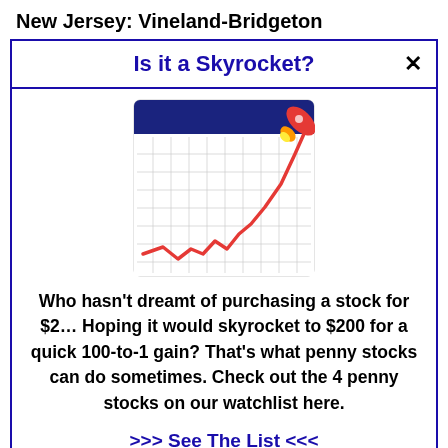New Jersey: Vineland-Bridgeton
Is it a Skyrocket?
[Figure (illustration): A calendar-style chart icon showing a rising red line chart with a rocket launching from the top right corner, on a white grid background with a dark blue header bar.]
Who hasn't dreamt of purchasing a stock for $2… Hoping it would skyrocket to $200 for a quick 100-to-1 gain? That's what penny stocks can do sometimes. Check out the 4 penny stocks on our watchlist here.
>>> See The List <<<
still getting worse).